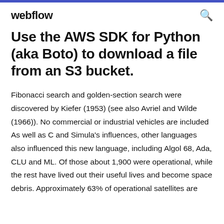webflow
Use the AWS SDK for Python (aka Boto) to download a file from an S3 bucket.
Fibonacci search and golden-section search were discovered by Kiefer (1953) (see also Avriel and Wilde (1966)). No commercial or industrial vehicles are included As well as C and Simula's influences, other languages also influenced this new language, including Algol 68, Ada, CLU and ML. Of those about 1,900 were operational, while the rest have lived out their useful lives and become space debris. Approximately 63% of operational satellites are